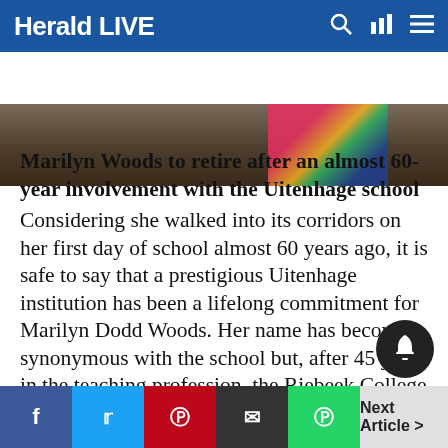Herald LIVE
[Figure (photo): Cropped photo showing partial view of a person, with colorful fabric visible on the right side]
Marilyn Woods to retire after an almost 60-year involvement with the Uitenhage school Considering she walked into its corridors on her first day of school almost 60 years ago, it is safe to say that a prestigious Uitenhage institution has been a lifelong commitment for Marilyn Dodd Woods. Her name has become synonymous with the school but, after 45 years in the teaching profession, the Riebeek College Girls' High principal is handing over the baton and retiring at the end of the year. “Everyone
f  t  p  ✉  ✓  Next Article >